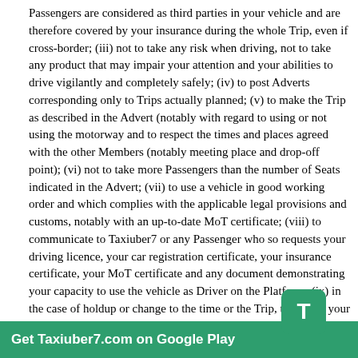Passengers are considered as third parties in your vehicle and are therefore covered by your insurance during the whole Trip, even if cross-border; (iii) not to take any risk when driving, not to take any product that may impair your attention and your abilities to drive vigilantly and completely safely; (iv) to post Adverts corresponding only to Trips actually planned; (v) to make the Trip as described in the Advert (notably with regard to using or not using the motorway and to respect the times and places agreed with the other Members (notably meeting place and drop-off point); (vi) not to take more Passengers than the number of Seats indicated in the Advert; (vii) to use a vehicle in good working order and which complies with the applicable legal provisions and customs, notably with an up-to-date MoT certificate; (viii) to communicate to Taxiuber7 or any Passenger who so requests your driving licence, your car registration certificate, your insurance certificate, your MoT certificate and any document demonstrating your capacity to use the vehicle as Driver on the Platform; (ix) in the case of holdup or change to the time or the Trip, to inform your Passengers without delay; (x) in the case of a cross-border Trip, to hold and keep available to the Passenger and any authority that may so request any document evidencing your identity and your right to cross the border; (xi) to wait for Passengers at the agreed meeting place for at least 15 minutes after the agreed time; (xii) not to post an Advert relative to a vehicle you do not get authorised to use for the purposes of carpooling; (xiii) to ensure you can be contacted by your Passenger